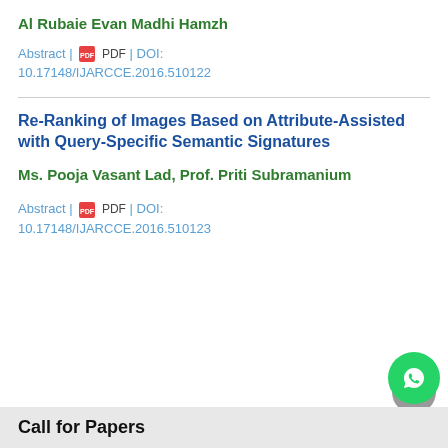Al Rubaie Evan Madhi Hamzh
Abstract | PDF | DOI: 10.17148/IJARCCE.2016.510122
Re-Ranking of Images Based on Attribute-Assisted with Query-Specific Semantic Signatures
Ms. Pooja Vasant Lad, Prof. Priti Subramanium
Abstract | PDF | DOI: 10.17148/IJARCCE.2016.510123
Call for Papers